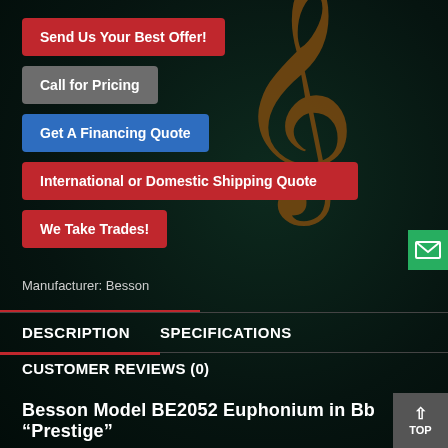[Figure (screenshot): Dark green/black background with a decorative treble clef symbol in bronze/brown color on the right side of the page]
Send Us Your Best Offer!
Call for Pricing
Get A Financing Quote
International or Domestic Shipping Quote
We Take Trades!
Manufacturer: Besson
DESCRIPTION
SPECIFICATIONS
CUSTOMER REVIEWS (0)
Besson Model BE2052 Euphonium in Bb “Prestige”